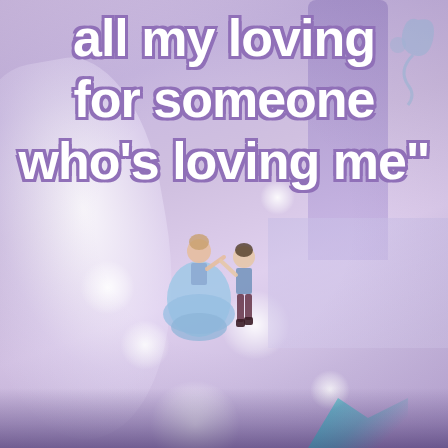[Figure (illustration): Romantic fairy-tale illustration with Cinderella and Prince Charming dancing in front of a palace column and staircase, with soft purple/lavender background, bokeh light circles, feather/wing on the left, and teal leaves at the bottom. Overlaid with inspirational quote text.]
all my loving for someone who's loving me"